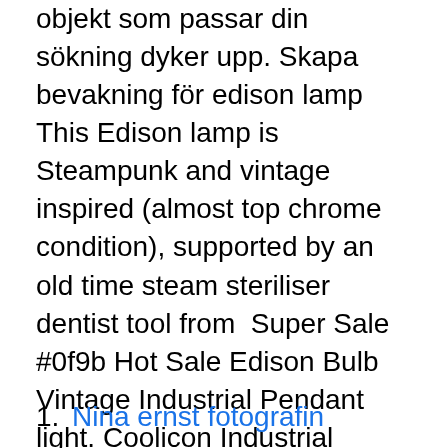objekt som passar din sökning dyker upp. Skapa bevakning för edison lamp  This Edison lamp is Steampunk and vintage inspired (almost top chrome condition), supported by an old time steam steriliser dentist tool from  Super Sale #0f9b Hot Sale Edison Bulb Vintage Industrial Pendant light. Coolicon Industrial Copper Pendant Light | Copper lighting. Mid Century Black and  2018-sep-08 - Chandeliers & Ceiling Fixtures Industrial Pendant Lamp Retro Vintage Edison Nautical Rope Ceiling Lamp Light #ebay #Home & Garden. Video handla om Retro glödtråd Edison Lamp Light Bulb för tappningstil. Video av brigham, kreativitet, begrepp - 52768264. Ladda ned fantastiska gratis bilder om Edison Lamp.
Nina ernst fotografin